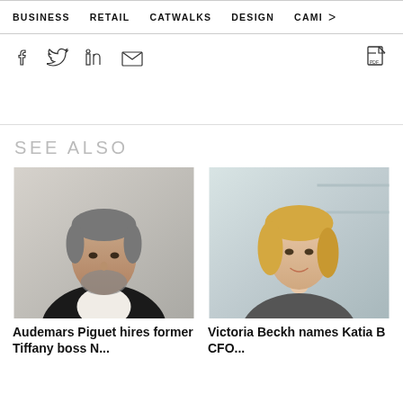BUSINESS   RETAIL   CATWALKS   DESIGN   CAMI >
Social share icons: Facebook, Twitter, LinkedIn, Email, PDF
SEE ALSO
[Figure (photo): Portrait photo of a middle-aged man with grey beard and salt-and-pepper hair in a suit]
Audemars Piguet hires former Tiffany boss N...
[Figure (photo): Portrait photo of a blonde woman smiling]
Victoria Beckh names Katia B CFO...